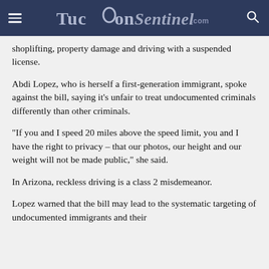TucsonSentinel.com
shoplifting, property damage and driving with a suspended license.
Abdi Lopez, who is herself a first-generation immigrant, spoke against the bill, saying it’s unfair to treat undocumented criminals differently than other criminals.
“If you and I speed 20 miles above the speed limit, you and I have the right to privacy – that our photos, our height and our weight will not be made public,” she said.
In Arizona, reckless driving is a class 2 misdemeanor.
Lopez warned that the bill may lead to the systematic targeting of undocumented immigrants and their